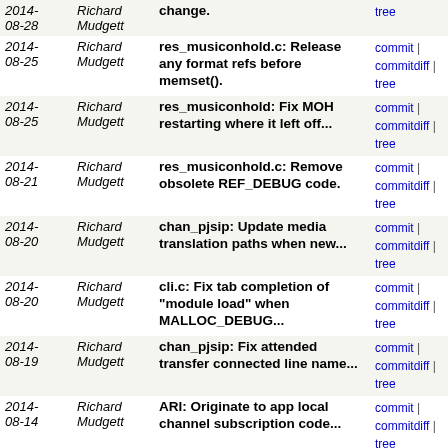| Date | Author | Message | Links |
| --- | --- | --- | --- |
| 2014-08-28 | Richard Mudgett | change. | commit | commitdiff | tree |
| 2014-08-25 | Richard Mudgett | res_musiconhold.c: Release any format refs before memset(). | commit | commitdiff | tree |
| 2014-08-25 | Richard Mudgett | res_musiconhold: Fix MOH restarting where it left off... | commit | commitdiff | tree |
| 2014-08-21 | Richard Mudgett | res_musiconhold.c: Remove obsolete REF_DEBUG code. | commit | commitdiff | tree |
| 2014-08-20 | Richard Mudgett | chan_pjsip: Update media translation paths when new... | commit | commitdiff | tree |
| 2014-08-20 | Richard Mudgett | cli.c: Fix tab completion of "module load" when MALLOC_DEBUG... | commit | commitdiff | tree |
| 2014-08-19 | Richard Mudgett | chan_pjsip: Fix attended transfer connected line name... | commit | commitdiff | tree |
| 2014-08-14 | Richard Mudgett | ARI: Originate to app local channel subscription code... | commit | commitdiff | tree |
| 2014-08-14 | Richard Mudgett | channel_internal_api.c: Replace some code with ao2_replace(). | commit | commitdiff | tree |
| 2014-08-13 | Richard Mudgett | res_pjsip_send_to_voicemail.c: Fix svn file properties. | commit | commitdiff | tree |
| 2014-08-12 | Richard Mudgett | chan_sip: Fix type mismatch when the format is changed. | commit | commitdiff | tree |
| 2014-08-12 | Richard Mudgett | res_stasis_snoop.c: Fix off nominial exit path leaving... | commit | commitdiff | tree |
| 2014-08-11 | Richard Mudgett | res/stasis/command.c: Fix recent commit using spaces... | commit | commitdiff | tree |
| 2014-08-07 | Richard Mudgett | chan_sip: Replace sip_tls_read() and resolve the large... | commit | commitdiff | tree |